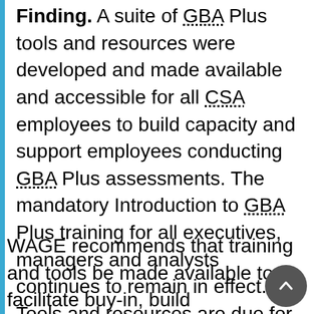Finding. A suite of GBA Plus tools and resources were developed and made available and accessible for all CSA employees to build capacity and support employees conducting GBA Plus assessments. The mandatory Introduction to GBA Plus training for all executives, managers and analysts continues to remain in effect. Tools and resources are due for revisions and updating.
WAGE recommends that training and tools be made available to facilitate buy-in, build